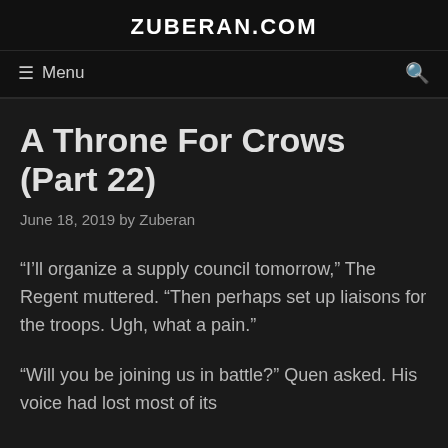ZUBERAN.COM
≡ Menu   🔍
A Throne For Crows (Part 22)
June 18, 2019 by Zuberan
“I’ll organize a supply council tomorrow,” The Regent muttered. “Then perhaps set up liaisons for the troops. Ugh, what a pain.”
“Will you be joining us in battle?” Quen asked. His voice had lost most of its